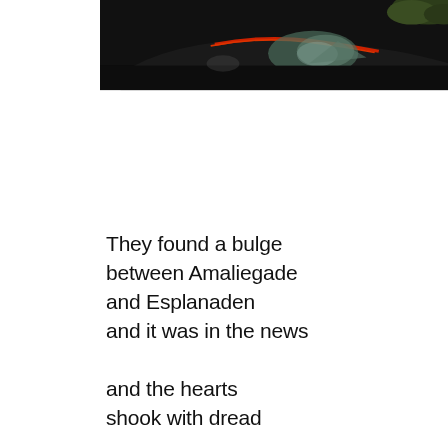[Figure (photo): Dark photograph showing the rear/roof of a car with red trim, against a dark background with some greenery visible at top right. The image is dark and moody, showing what appears to be a vehicle's exterior.]
They found a bulge
between Amaliegade
and Esplanaden
and it was in the news

and the hearts
shook with dread

a long sack of skin.like flesh
growing from a thin string
into an enormous
bulk

a man stood drinking the ship
in a circle of dizziness

the lights of police